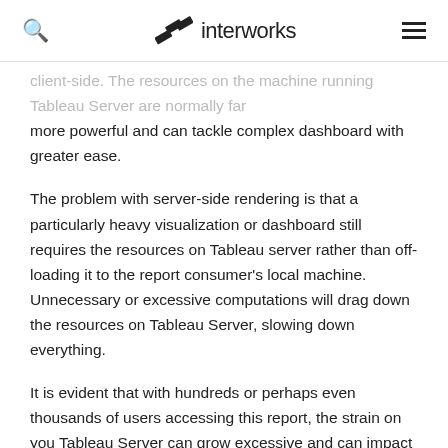interworks
client-side. The resources on the machine running Tableau Server are normally far more powerful and can tackle complex dashboard with greater ease.
The problem with server-side rendering is that a particularly heavy visualization or dashboard still requires the resources on Tableau server rather than off-loading it to the report consumer's local machine. Unnecessary or excessive computations will drag down the resources on Tableau Server, slowing down everything.
It is evident that with hundreds or perhaps even thousands of users accessing this report, the strain on you Tableau Server can grow excessive and can impact performance. The best way to tackle this problem is to optimize the dashboard and the calculations...